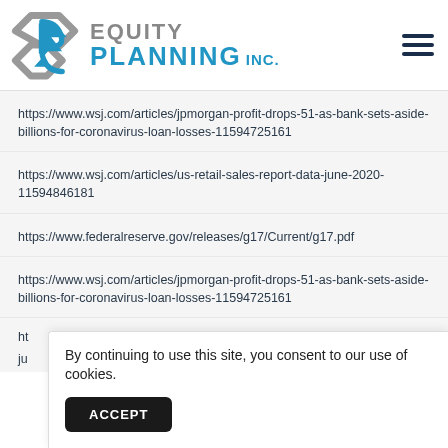[Figure (logo): Equity Planning Inc. company logo with geometric diamond/arrow icon in gray and blue, company name in gray and blue text]
https://www.wsj.com/articles/jpmorgan-profit-drops-51-as-bank-sets-aside-billions-for-coronavirus-loan-losses-11594725161
https://www.wsj.com/articles/us-retail-sales-report-data-june-2020-11594846181
https://www.federalreserve.gov/releases/g17/Current/g17.pdf
https://www.wsj.com/articles/jpmorgan-profit-drops-51-as-bank-sets-aside-billions-for-coronavirus-loan-losses-11594725161
By continuing to use this site, you consent to our use of cookies.
ACCEPT